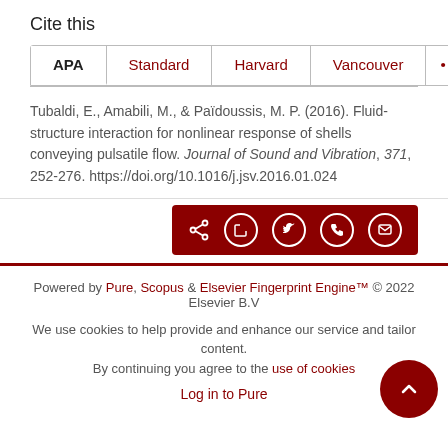Cite this
APA | Standard | Harvard | Vancouver | ...
Tubaldi, E., Amabili, M., & Païdoussis, M. P. (2016). Fluid-structure interaction for nonlinear response of shells conveying pulsatile flow. Journal of Sound and Vibration, 371, 252-276. https://doi.org/10.1016/j.jsv.2016.01.024
Powered by Pure, Scopus & Elsevier Fingerprint Engine™ © 2022 Elsevier B.V
We use cookies to help provide and enhance our service and tailor content. By continuing you agree to the use of cookies
Log in to Pure